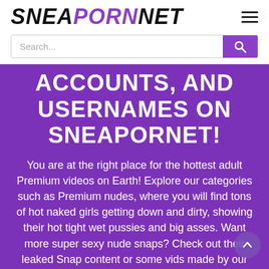SNEAPORNET
Search...
ACCOUNTS, AND USERNAMES ON SNEAPORNET!
You are at the right place for the hottest adult Premium videos on Earth! Explore our categories such as Premium nudes, where you will find tons of hot naked girls getting down and dirty, showing their hot tight wet pussies and big asses. Want more super sexy nude snaps? Check out their leaked Snap content or some vids made by our legal teens